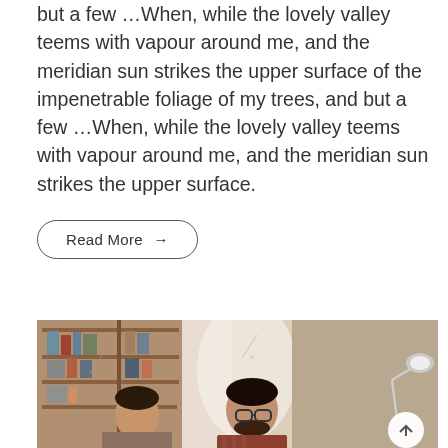but a few …When, while the lovely valley teems with vapour around me, and the meridian sun strikes the upper surface of the impenetrable foliage of my trees, and but a few …When, while the lovely valley teems with vapour around me, and the meridian sun strikes the upper surface.
Read More →
[Figure (photo): Two men working together at a desk in an office environment with bookshelves in the background. One man has glasses and a beard. There is a desk lamp visible on the right side. A circular back-to-top arrow button is overlaid in the bottom right corner of the image.]